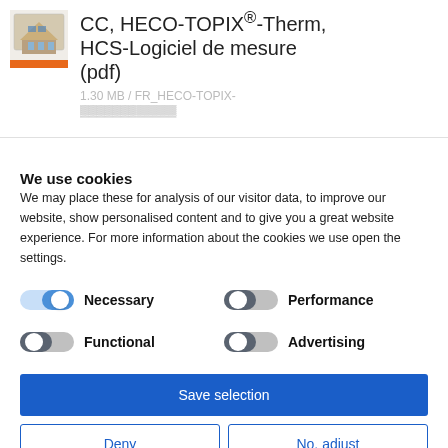CC, HECO-TOPIX®-Therm, HCS-Logiciel de mesure (pdf)
1.30 MB / FR_HECO-TOPIX-
We use cookies
We may place these for analysis of our visitor data, to improve our website, show personalised content and to give you a great website experience. For more information about the cookies we use open the settings.
Necessary
Performance
Functional
Advertising
Save selection
Deny
No, adjust